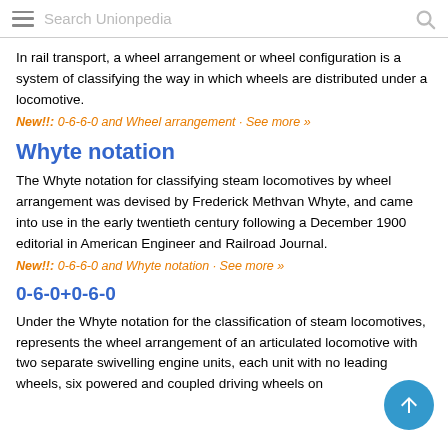Search Unionpedia
In rail transport, a wheel arrangement or wheel configuration is a system of classifying the way in which wheels are distributed under a locomotive.
New!!: 0-6-6-0 and Wheel arrangement · See more »
Whyte notation
The Whyte notation for classifying steam locomotives by wheel arrangement was devised by Frederick Methvan Whyte, and came into use in the early twentieth century following a December 1900 editorial in American Engineer and Railroad Journal.
New!!: 0-6-6-0 and Whyte notation · See more »
0-6-0+0-6-0
Under the Whyte notation for the classification of steam locomotives, represents the wheel arrangement of an articulated locomotive with two separate swivelling engine units, each unit with no leading wheels, six powered and coupled driving wheels on